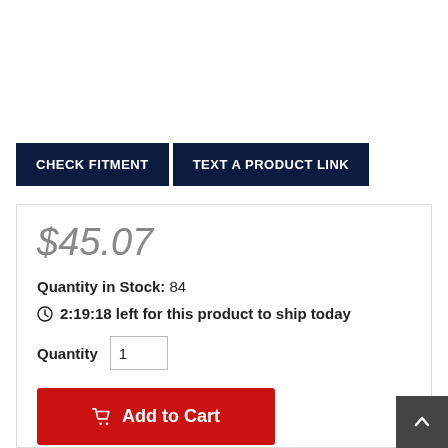CHECK FITMENT
TEXT A PRODUCT LINK
$45.07
Quantity in Stock: 84
2:19:18 left for this product to ship today
Quantity 1
Add to Cart